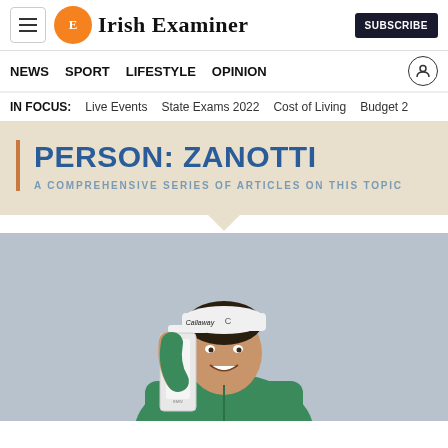Irish Examiner
NEWS  SPORT  LIFESTYLE  OPINION
IN FOCUS:  Live Events  State Exams 2022  Cost of Living  Budget 2
PERSON: ZANOTTI
A COMPREHENSIVE SERIES OF ARTICLES ON THIS TOPIC
[Figure (photo): Golfer holding a white trophy, wearing a green jacket and Callaway cap, smiling against a grey background]